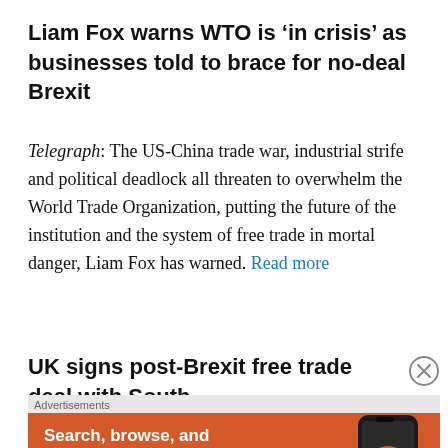Liam Fox warns WTO is 'in crisis' as businesses told to brace for no-deal Brexit
Telegraph: The US-China trade war, industrial strife and political deadlock all threaten to overwhelm the World Trade Organization, putting the future of the institution and the system of free trade in mortal danger, Liam Fox has warned. Read more
UK signs post-Brexit free trade deal with South
[Figure (screenshot): DuckDuckGo advertisement banner with orange background. Text reads: 'Search, browse, and email with more privacy. All in One Free App' with DuckDuckGo duck logo and phone image.]